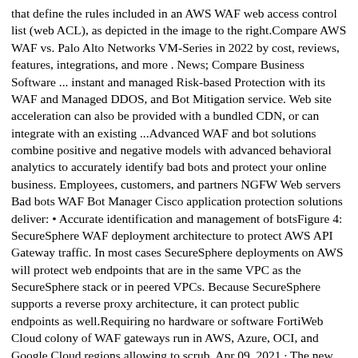that define the rules included in an AWS WAF web access control list (web ACL), as depicted in the image to the right.Compare AWS WAF vs. Palo Alto Networks VM-Series in 2022 by cost, reviews, features, integrations, and more . News; Compare Business Software ... instant and managed Risk-based Protection with its WAF and Managed DDOS, and Bot Mitigation service. Web site acceleration can also be provided with a bundled CDN, or can integrate with an existing ...Advanced WAF and bot solutions combine positive and negative models with advanced behavioral analytics to accurately identify bad bots and protect your online business. Employees, customers, and partners NGFW Web servers Bad bots WAF Bot Manager Cisco application protection solutions deliver: • Accurate identification and management of botsFigure 4: SecureSphere WAF deployment architecture to protect AWS API Gateway traffic. In most cases SecureSphere deployments on AWS will protect web endpoints that are in the same VPC as the SecureSphere stack or in peered VPCs. Because SecureSphere supports a reverse proxy architecture, it can protect public endpoints as well.Requiring no hardware or software FortiWeb Cloud colony of WAF gateways run in AWS, Azure, OCI, and Google Cloud regions allowing to scrub. Apr 09, 2021 · The new AWS WAF Bot Control feature analyses the request metadata such as TLS handshakes, HTTP attributes, and IP addresses to identify the bot's purpose. It then categorizes the bots by ... 1. Bad bot & scraper protection. When you launch the AWS CloudFormation script, it will give you a honeypot URL in the output that you can